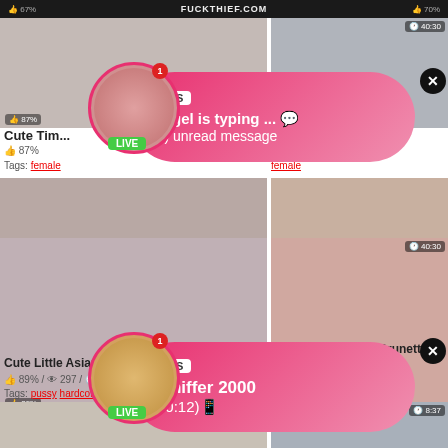67% FUCKTHIEF.COM 70%
Cute Tim... ght Stealing | Neighbor Blackm... F
87%
Tags:
[Figure (screenshot): Ad notification bubble 1: profile avatar with LIVE badge and notification badge, pink gradient bubble with ADS label, text: Angel is typing ... (1) unread message, close X button]
[Figure (screenshot): Ad notification bubble 2: profile avatar with LIVE badge and notification badge, pink gradient bubble with ADS label, text: Jeniffer 2000 (00:12), close X button]
[Figure (photo): Video thumbnail: Cute Little Asian Teen, 89%, 297 views, 6:00]
Cute Little Asian Teen
89% / 297 / 6:00
Tags: pussy hardcore babe
[Figure (photo): Video thumbnail: FFM BBW French Brunette Babe, 78%, 218 views, 40:30]
FFM BBW French Brunette Babe
78% / 218 / 40:30
Tags: porn anal dildo
[Figure (photo): Video thumbnail bottom left, timer 9:19]
[Figure (photo): Video thumbnail bottom right, timer 8:37]